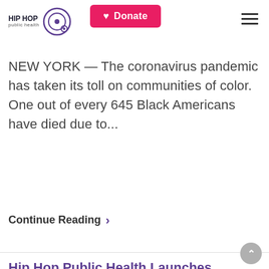Hip Hop Public Health | Donate | Navigation menu
NEW YORK — The coronavirus pandemic has taken its toll on communities of color. One out of every 645 Black Americans have died due to...
Continue Reading >
Hip Hop Public Health Launches